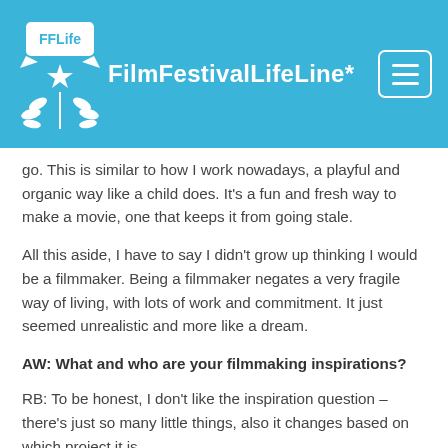FilmFestivalLifeLine*
go. This is similar to how I work nowadays, a playful and organic way like a child does. It's a fun and fresh way to make a movie, one that keeps it from going stale.
All this aside, I have to say I didn't grow up thinking I would be a filmmaker. Being a filmmaker negates a very fragile way of living, with lots of work and commitment. It just seemed unrealistic and more like a dream.
AW: What and who are your filmmaking inspirations?
RB: To be honest, I don't like the inspiration question – there's just so many little things, also it changes based on which project it is.
However, to answer...I guess I'm very inspired by the classics, from Tarkovsky to Kubrick – the ones